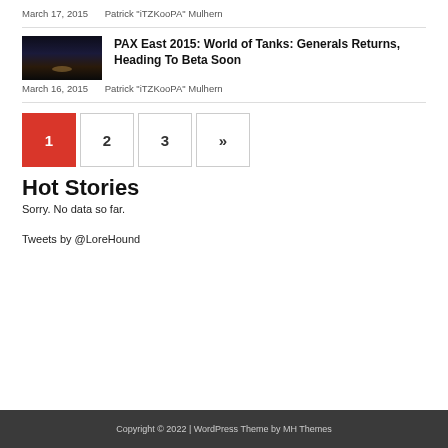March 17, 2015   Patrick "iTZKooPA" Mulhern
PAX East 2015: World of Tanks: Generals Returns, Heading To Beta Soon
March 16, 2015   Patrick "iTZKooPA" Mulhern
1  2  3  »
Hot Stories
Sorry. No data so far.
Tweets by @LoreHound
Copyright © 2022 | WordPress Theme by MH Themes